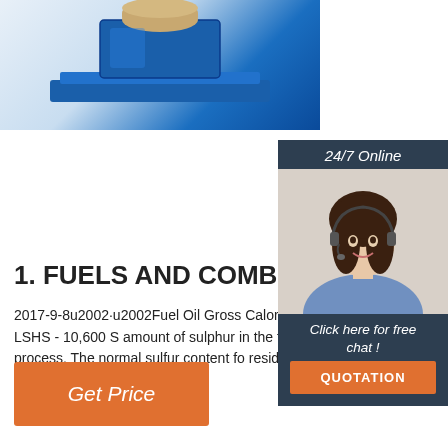[Figure (photo): Product image showing a blue industrial device/equipment on a blue platform, partially cut off at top of page]
[Figure (photo): Chat widget with photo of a female customer service representative wearing a headset, with '24/7 Online' header, 'Click here for free chat!' text, and orange QUOTATION button]
1. FUELS AND COMBUSTIO
2017-9-8u2002·u2002Fuel Oil Gross Calorific (kCal/kg) Kerosene - 11,100 Diesel Oil - 10,80 10,700 Furnace Oil - 10,500 LSHS - 10,600 S amount of sulphur in the fuel oil depends main source of the crude oil and to a lesser extent c refining process. The normal sulfur content fo residual fuel oil (furnace
[Figure (other): Orange 'Get Price' button]